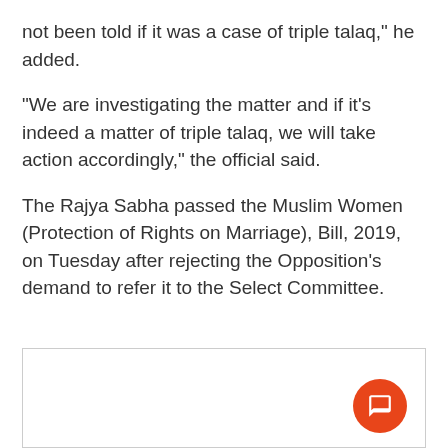not been told if it was a case of triple talaq," he added.
"We are investigating the matter and if it's indeed a matter of triple talaq, we will take action accordingly," the official said.
The Rajya Sabha passed the Muslim Women (Protection of Rights on Marriage), Bill, 2019, on Tuesday after rejecting the Opposition's demand to refer it to the Select Committee.
[Figure (other): Empty white box with a red circular chat/comment button in the bottom-right corner]